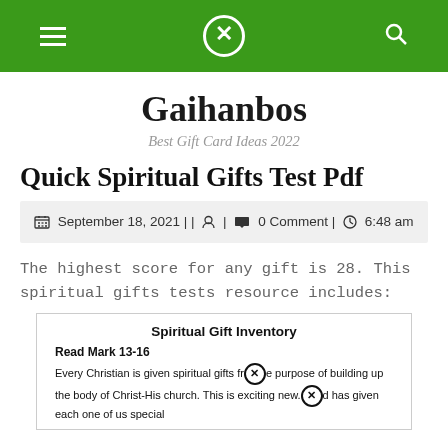Gaihanbos — Best Gift Card Ideas 2022 [navigation bar]
Gaihanbos
Best Gift Card Ideas 2022
Quick Spiritual Gifts Test Pdf
September 18, 2021 | | [user icon] | [comment icon] 0 Comment | [clock icon] 6:48 am
The highest score for any gift is 28. This spiritual gifts tests resource includes:
Spiritual Gift Inventory
Read Mark 13-16
Every Christian is given spiritual gifts for the purpose of building up the body of Christ-His church. This is exciting new. God has given each one of us special